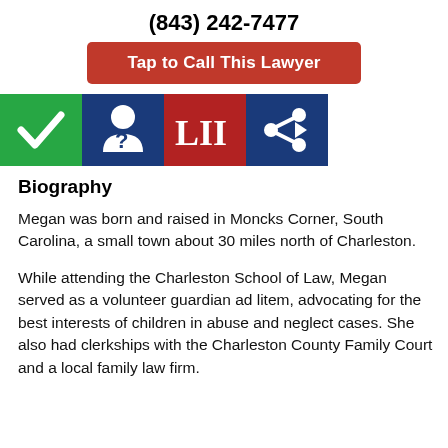(843) 242-7477
Tap to Call This Lawyer
[Figure (infographic): Four icon badges in a row: green checkmark badge, dark blue badge with a person silhouette and question mark, dark red LII badge, dark blue badge with a share/arrow symbol]
Biography
Megan was born and raised in Moncks Corner, South Carolina, a small town about 30 miles north of Charleston.
While attending the Charleston School of Law, Megan served as a volunteer guardian ad litem, advocating for the best interests of children in abuse and neglect cases. She also had clerkships with the Charleston County Family Court and a local family law firm.